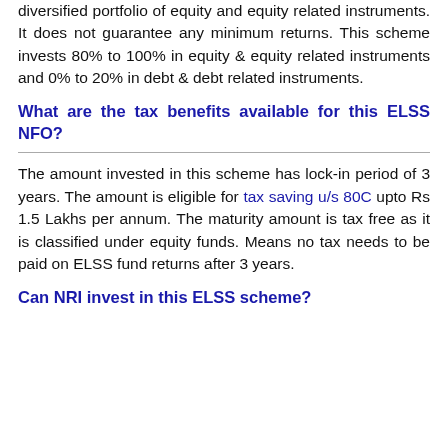diversified portfolio of equity and equity related instruments. It does not guarantee any minimum returns. This scheme invests 80% to 100% in equity & equity related instruments and 0% to 20% in debt & debt related instruments.
What are the tax benefits available for this ELSS NFO?
The amount invested in this scheme has lock-in period of 3 years. The amount is eligible for tax saving u/s 80C upto Rs 1.5 Lakhs per annum. The maturity amount is tax free as it is classified under equity funds. Means no tax needs to be paid on ELSS fund returns after 3 years.
Can NRI invest in this ELSS scheme?